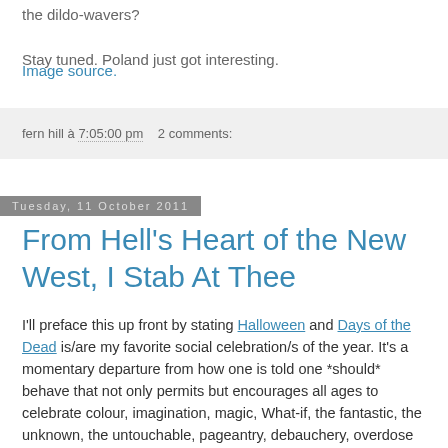the dildo-wavers?
Stay tuned. Poland just got interesting.
Image source.
fern hill à 7:05:00 pm   2 comments:
Tuesday, 11 October 2011
From Hell's Heart of the New West, I Stab At Thee
I'll preface this up front by stating Halloween and Days of the Dead is/are my favorite social celebration/s of the year. It's a momentary departure from how one is told one *should* behave that not only permits but encourages all ages to celebrate colour, imagination, magic, What-if, the fantastic, the unknown, the untouchable, pageantry, debauchery, overdose of sugarbombs liquid and solid, heros, villains, ancestors, and anything else you can cram into it.